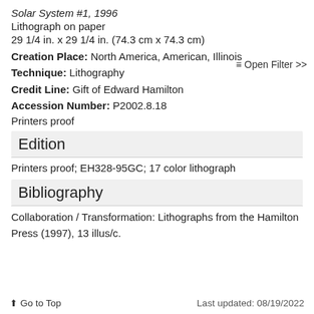Solar System #1, 1996
Lithograph on paper
29 1/4 in. x 29 1/4 in. (74.3 cm x 74.3 cm)
≡ Open Filter >>
Creation Place: North America, American, Illinois
Technique: Lithography
Credit Line: Gift of Edward Hamilton
Accession Number: P2002.8.18
Printers proof
Edition
Printers proof; EH328-95GC; 17 color lithograph
Bibliography
Collaboration / Transformation: Lithographs from the Hamilton Press (1997), 13 illus/c.
⬆ Go to Top    Last updated: 08/19/2022